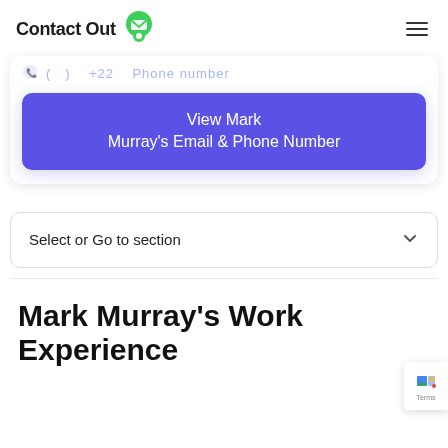Contact Out
Phone number (blurred)
View Mark Murray's Email & Phone Number
Select or Go to section
Mark Murray's Work Experience